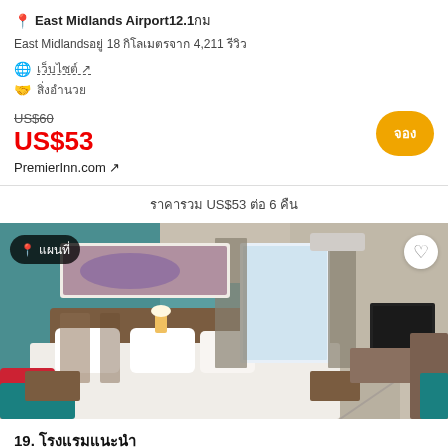📍 East Midlands Airport 12.1
East Midlands  18   4,211
🌐 เว็บไซต์ ↗
🤝 สิ่งอำนวย
US$60
US$53
PremierInn.com ↗
จอง
ราคา US$53 ต่อ 6 คืน
[Figure (photo): Hotel room photo showing a teal-walled room with a large bed, white pillows, red decorative pillow, teal sofa, wall lamps, framed artwork, curtains, TV, and a desk area.]
19. โรงแรมแนะนำ
1,540 รีวิว